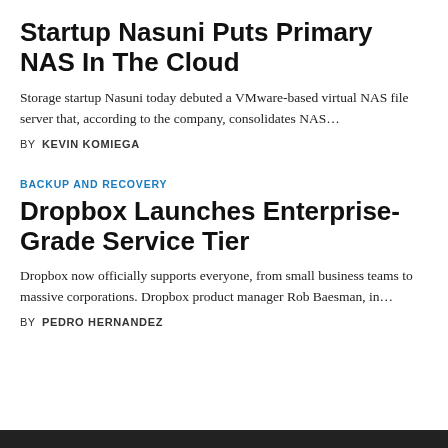Startup Nasuni Puts Primary NAS In The Cloud
Storage startup Nasuni today debuted a VMware-based virtual NAS file server that, according to the company, consolidates NAS…
BY  KEVIN KOMIEGA
BACKUP AND RECOVERY
Dropbox Launches Enterprise-Grade Service Tier
Dropbox now officially supports everyone, from small business teams to massive corporations. Dropbox product manager Rob Baesman, in…
BY  PEDRO HERNANDEZ